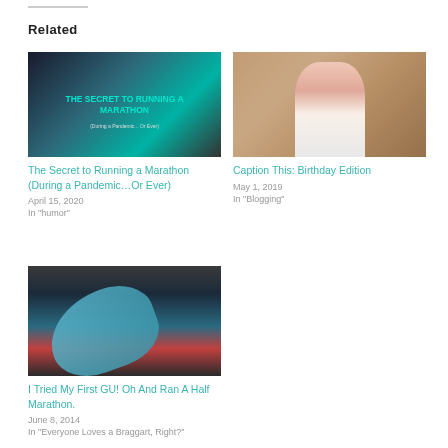Related
[Figure (photo): Blog post thumbnail for 'The Secret to Running a Marathon (During a Pandemic...Or Ever)' with teal/dark background and bold text overlay]
The Secret to Running a Marathon (During a Pandemic…Or Ever)
April 15, 2020
In "humor"
[Figure (photo): Photo of a blonde woman smiling, apparently at a birthday celebration]
Caption This: Birthday Edition
May 1, 2019
In "Blogging"
[Figure (photo): Photo of a person lying down in a blue tank top, appears to be resting after exercise]
I Tried My First GU! Oh And Ran A Half Marathon.
June 8, 2014
In "Everyone Loves a Braggart, Right?"